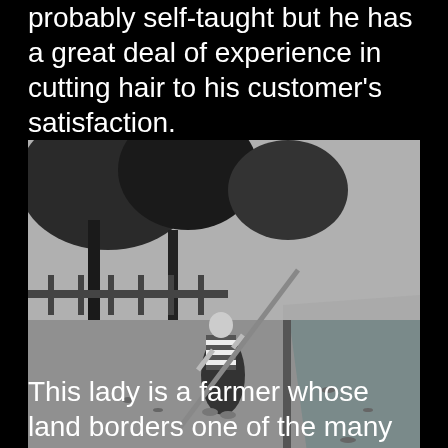probably self-taught but he has a great deal of experience in cutting hair to his customer's satisfaction.
[Figure (photo): Black and white photograph of an elderly woman carrying a long pole or bamboo stick, standing near a canal or irrigation channel. Trees and a fence are visible in the background. The setting appears to be a rural area in Bali.]
This lady is a farmer whose land borders one of the many monkey forest attractions in Bali. She is of